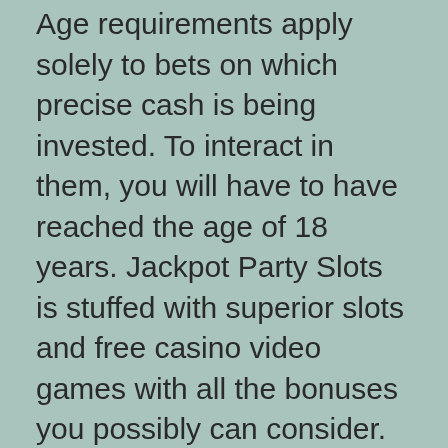Age requirements apply solely to bets on which precise cash is being invested. To interact in them, you will have to have reached the age of 18 years. Jackpot Party Slots is stuffed with superior slots and free casino video games with all the bonuses you possibly can consider. Win prizes spinning Las Vegas on line casino slot machines, acquire honey bucks and win coins from the true Vegas social slots get together.
The Baccarat Room gives gamers entry to a selection of Baccarat tables, devoted host